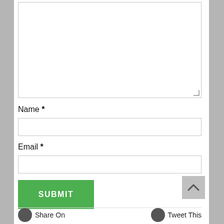[Figure (screenshot): Textarea input box (empty) at the top of a web form]
Name *
[Figure (screenshot): Name text input field (empty)]
Email *
[Figure (screenshot): Email text input field (empty)]
[Figure (screenshot): Green SUBMIT button]
[Figure (screenshot): Scroll-to-top button (grey, with upward chevron)]
Share On
Tweet This